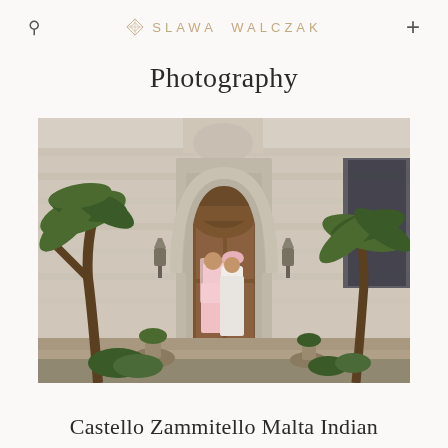SLAWA WALCZAK
Photography
[Figure (photo): A couple in Indian wedding attire standing in front of an ornate arched wooden door on stone steps of a historic castle building (Castello Zammitello, Malta). Palm trees flank the sides of the building. The bride wears a pink saree and the groom wears a light-colored sherwani with a pink turban.]
Castello Zammitello Malta Indian